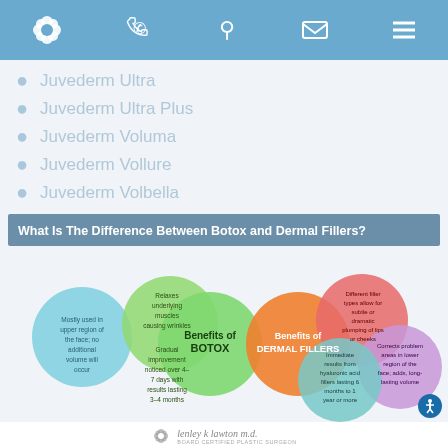Navigation header with icons
Juvederm Ultra
Juvederm Ultra Plus
Juvederm Voluma
Juvederm Vollure
Juvederm Volbella
What Is The Difference Between Botox and Dermal Fillers?
[Figure (infographic): Bubble infographic comparing Benefits of BOTOX (left side: Mostly used in upper region of the face; no additional volume will occur; Relaxes underlying muscles causing wrinkles; Gradual improvement noticed over 4-7 days with results lasting 3-4 months) and Benefits of DERMAL FILLERS (right side: Different filler types allow for subtle or dramatic plumping of lips or cheeks; Immediate results from hyaluronic acid fillers lasting 6 months to 1 year or more; Corrects problem areas in lower region of the face; adds, long-lasting volume)]
lenley k lawton m.d. BOARD CERTIFIED PLASTIC SURGEON